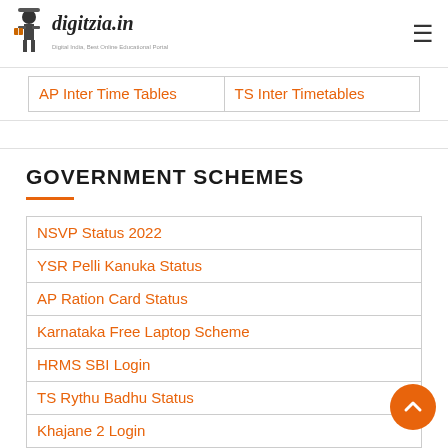digitzia.in
| AP Inter Time Tables | TS Inter Timetables |
GOVERNMENT SCHEMES
| NSVP Status 2022 |
| YSR Pelli Kanuka Status |
| AP Ration Card Status |
| Karnataka Free Laptop Scheme |
| HRMS SBI Login |
| TS Rythu Badhu Status |
| Khajane 2 Login |